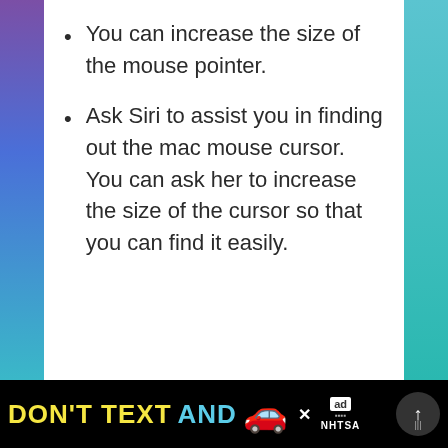You can increase the size of the mouse pointer.
Ask Siri to assist you in finding out the mac mouse cursor. You can ask her to increase the size of the cursor so that you can find it easily.
[Figure (screenshot): Advertisement banner at bottom: black background with yellow 'DON'T TEXT' and cyan 'AND' text, red car emoji, ad badge, NHTSA logo, close button, and navigation button]